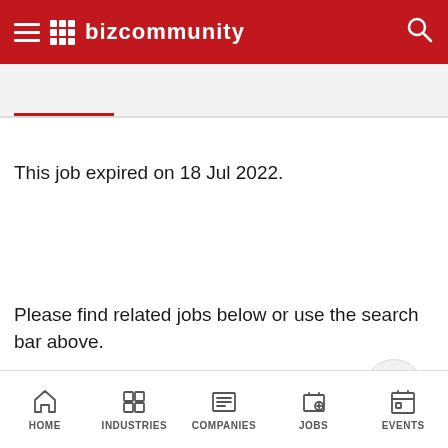[Figure (logo): Bizcommunity logo on red header bar with hamburger menu, grid icon, and search icon]
This job expired on 18 Jul 2022.
Please find related jobs below or use the search bar above.
PR Account Director
Johannesburg
HOME  INDUSTRIES  COMPANIES  JOBS  EVENTS